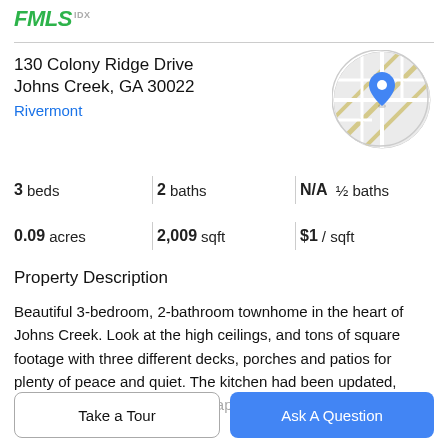FMLS IDX
130 Colony Ridge Drive
Johns Creek, GA 30022
Rivermont
[Figure (map): Circular map thumbnail showing street map with a blue location pin marker]
3 beds | 2 baths | N/A ½ baths
0.09 acres | 2,009 sqft | $1 / sqft
Property Description
Beautiful 3-bedroom, 2-bathroom townhome in the heart of Johns Creek. Look at the high ceilings, and tons of square footage with three different decks, porches and patios for plenty of peace and quiet. The kitchen had been updated, adding granite, stainless steel appliances to go with the
Take a Tour
Ask A Question